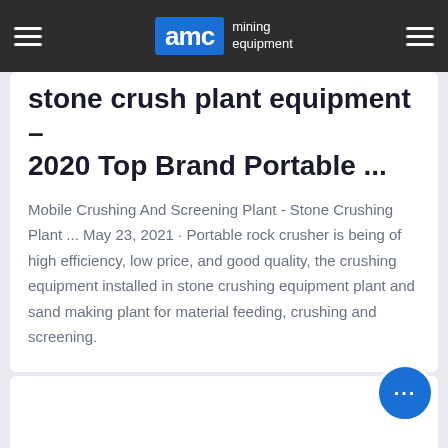AMC mining equipment
stone crush plant equipment – 2020 Top Brand Portable ...
Mobile Crushing And Screening Plant - Stone Crushing Plant ... May 23, 2021 · Portable rock crusher is being of high efficiency, low price, and good quality, the crushing equipment installed in stone crushing equipment plant and sand making plant for material feeding, crushing and screening.
[Figure (other): CONSULT button - blue rectangular call-to-action button]
[Figure (other): Chat bubble icon - circular blue chat button in bottom right corner]